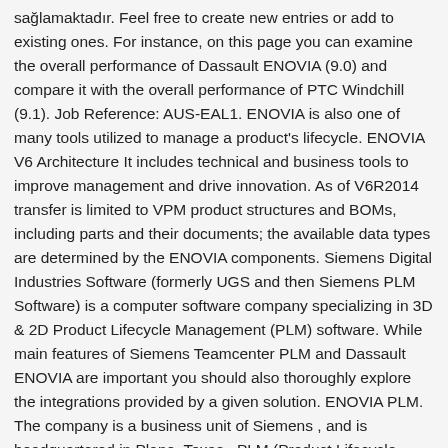sağlamaktadır. Feel free to create new entries or add to existing ones. For instance, on this page you can examine the overall performance of Dassault ENOVIA (9.0) and compare it with the overall performance of PTC Windchill (9.1). Job Reference: AUS-EAL1. ENOVIA is also one of many tools utilized to manage a product's lifecycle. ENOVIA V6 Architecture It includes technical and business tools to improve management and drive innovation. As of V6R2014 transfer is limited to VPM product structures and BOMs, including parts and their documents; the available data types are determined by the ENOVIA components. Siemens Digital Industries Software (formerly UGS and then Siemens PLM Software) is a computer software company specializing in 3D & 2D Product Lifecycle Management (PLM) software. While main features of Siemens Teamcenter PLM and Dassault ENOVIA are important you should also thoroughly explore the integrations provided by a given solution. ENOVIA PLM. The company is a business unit of Siemens , and is headquartered in Plano, Texas . PLM (Product Lifecycle Management), bir ürünün fikir aşamasından son kullanıcıya